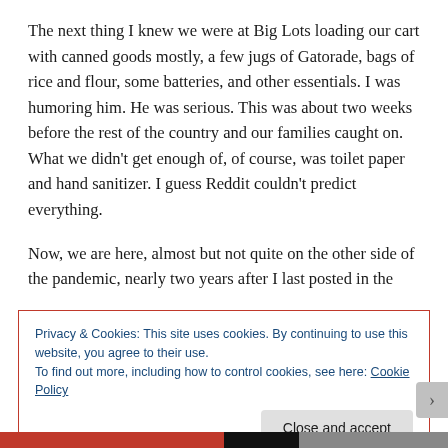The next thing I knew we were at Big Lots loading our cart with canned goods mostly, a few jugs of Gatorade, bags of rice and flour, some batteries, and other essentials. I was humoring him. He was serious. This was about two weeks before the rest of the country and our families caught on. What we didn't get enough of, of course, was toilet paper and hand sanitizer. I guess Reddit couldn't predict everything.
Now, we are here, almost but not quite on the other side of the pandemic, nearly two years after I last posted in the
Privacy & Cookies: This site uses cookies. By continuing to use this website, you agree to their use.
To find out more, including how to control cookies, see here: Cookie Policy